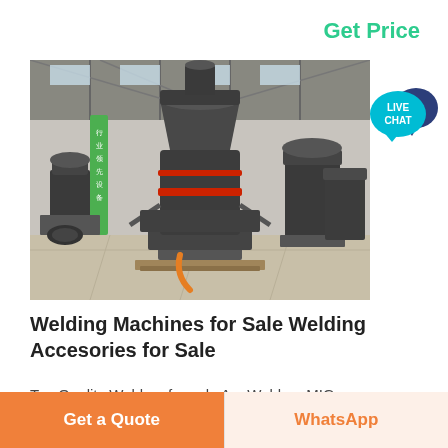Get Price
[Figure (photo): Industrial grinding mill machines in a large factory warehouse. Multiple large dark grey cylindrical grinding mills on the factory floor, with red ring accents. A green banner with Chinese text is visible on the left side.]
Welding Machines for Sale Welding Accesories for Sale
Top Quality Welders for sale Arc Welders MIG
Get a Quote
WhatsApp